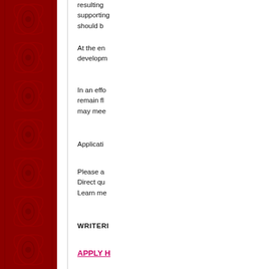[Figure (illustration): Red ornamental damask pattern border on the left side of the page]
resulting supporting should b
At the en developm
In an effo remain fl may mee
Applicati
Please a Direct qu Learn me
WRITERI
APPLY H